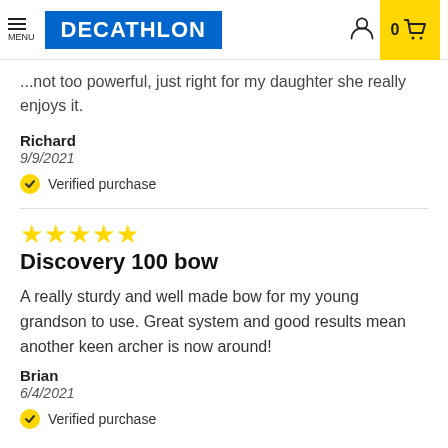DECATHLON — Menu, User icon, Cart (0)
...not too powerful, just right for my daughter she really enjoys it.
Richard
9/9/2021
Verified purchase
[Figure (other): 5 yellow star rating icons]
Discovery 100 bow
A really sturdy and well made bow for my young grandson to use. Great system and good results mean another keen archer is now around!
Brian
6/4/2021
Verified purchase